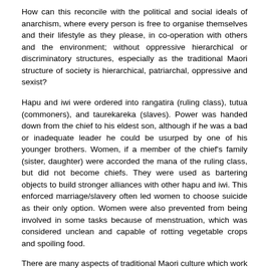How can this reconcile with the political and social ideals of anarchism, where every person is free to organise themselves and their lifestyle as they please, in co-operation with others and the environment; without oppressive hierarchical or discriminatory structures, especially as the traditional Maori structure of society is hierarchical, patriarchal, oppressive and sexist?
Hapu and iwi were ordered into rangatira (ruling class), tutua (commoners), and taurekareka (slaves). Power was handed down from the chief to his eldest son, although if he was a bad or inadequate leader he could be usurped by one of his younger brothers. Women, if a member of the chief's family (sister, daughter) were accorded the mana of the ruling class, but did not become chiefs. They were used as bartering objects to build stronger alliances with other hapu and iwi. This enforced marriage/slavery often led women to choose suicide as their only option. Women were also prevented from being involved in some tasks because of menstruation, which was considered unclean and capable of rotting vegetable crops and spoiling food.
There are many aspects of traditional Maori culture which work contrary to basic anarchist principles: Maori were a warrior race, who actively sought to invade other communities, killing, brutalising and enslaving the inhabitants, destroying their homes and crops.